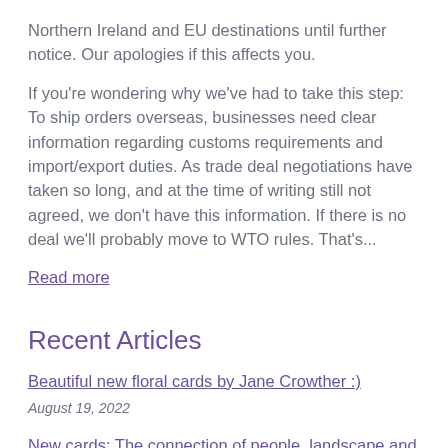Northern Ireland and EU destinations until further notice. Our apologies if this affects you.
If you're wondering why we've had to take this step: To ship orders overseas, businesses need clear information regarding customs requirements and import/export duties. As trade deal negotiations have taken so long, and at the time of writing still not agreed, we don't have this information. If there is no deal we'll probably move to WTO rules. That's...
Read more
Recent Articles
Beautiful new floral cards by Jane Crowther :)
August 19, 2022
New cards: The connection of people, landscape and